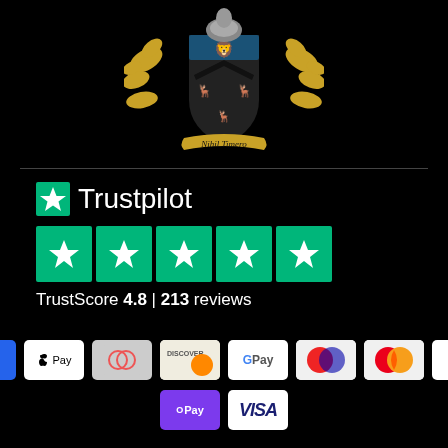[Figure (illustration): Coat of arms / heraldic crest with gold and black design, shield with deer, blue chevron with lion, motto ribbon reading 'Nihil Timero']
[Figure (logo): Trustpilot logo with green star icon and 'Trustpilot' text, five green star rating boxes, TrustScore 4.8 | 213 reviews]
[Figure (infographic): Payment method icons: AMEX, Apple Pay, Diners Club, Discover, Google Pay, Maestro, Mastercard, PayPal, OPay, VISA]